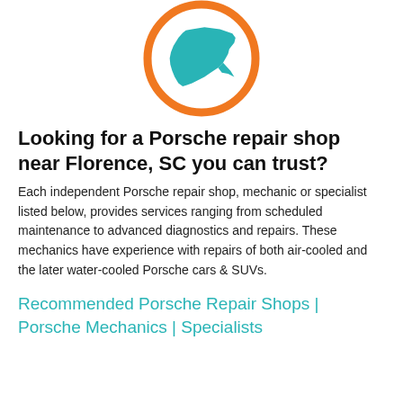[Figure (logo): Orange circle outline with a teal/cyan silhouette of South Carolina state map inside]
Looking for a Porsche repair shop near Florence, SC you can trust?
Each independent Porsche repair shop, mechanic or specialist listed below, provides services ranging from scheduled maintenance to advanced diagnostics and repairs. These mechanics have experience with repairs of both air-cooled and the later water-cooled Porsche cars & SUVs.
Recommended Porsche Repair Shops | Porsche Mechanics | Specialists